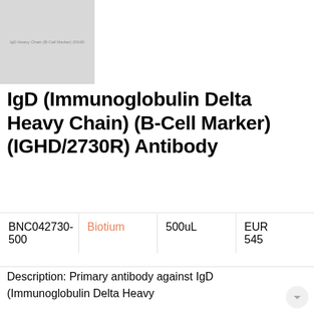[Figure (photo): Product image placeholder showing gray box with text: IgD Heavy Chain (B-Cell Marker) (IGHD)]
IgD (Immunoglobulin Delta Heavy Chain) (B-Cell Marker) (IGHD/2730R) Antibody
| BNC042730-500 | Biotium | 500uL | EUR 545 |
Description: Primary antibody against IgD (Immunoglobulin Delta Heavy